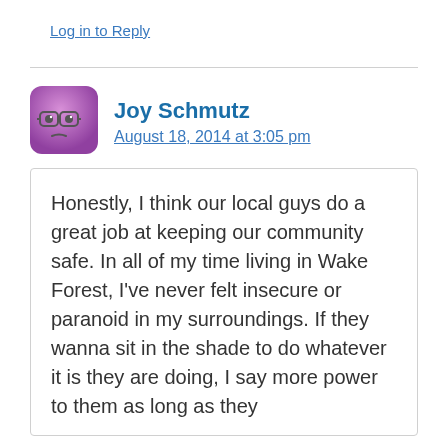Log in to Reply
Joy Schmutz
August 18, 2014 at 3:05 pm
Honestly, I think our local guys do a great job at keeping our community safe. In all of my time living in Wake Forest, I've never felt insecure or paranoid in my surroundings. If they wanna sit in the shade to do whatever it is they are doing, I say more power to them as long as they